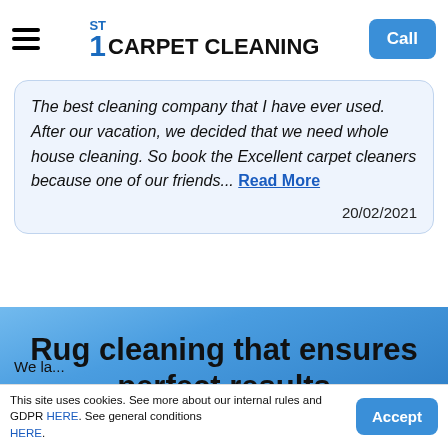1ST CARPET CLEANING — navigation bar with hamburger menu and Call button
The best cleaning company that I have ever used. After our vacation, we decided that we need whole house cleaning. So book the Excellent carpet cleaners because one of our friends... Read More
20/02/2021
Rug cleaning that ensures perfect results
We have a...
This site uses cookies. See more about our internal rules and GDPR HERE. See general conditions HERE.